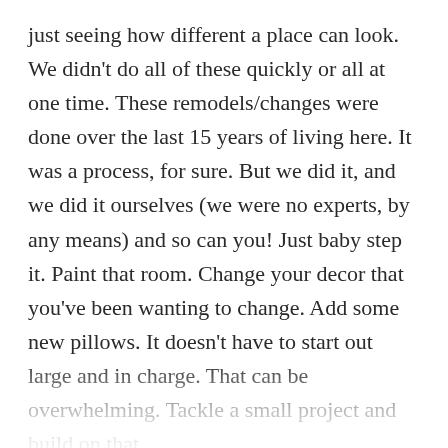just seeing how different a place can look. We didn't do all of these quickly or all at one time. These remodels/changes were done over the last 15 years of living here. It was a process, for sure. But we did it, and we did it ourselves (we were no experts, by any means) and so can you! Just baby step it. Paint that room. Change your decor that you've been wanting to change. Add some new pillows. It doesn't have to start out large and in charge. That can be overwhelming. Tackle a small project and build on that.
And you don't have to spend a fortune to decorate or redecorate your home. A lot of the things I've used to decorate with came from thrift stores and have been very budget friendly for us.